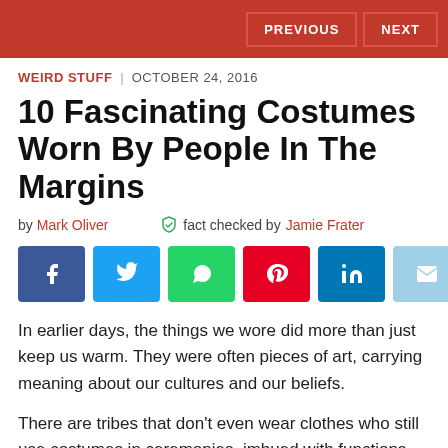PREVIOUS | NEXT
WEIRD STUFF | OCTOBER 24, 2016
10 Fascinating Costumes Worn By People In The Margins
by Mark Oliver   fact checked by Jamie Frater
[Figure (other): Social share buttons: Facebook, Twitter, WhatsApp, Pinterest, LinkedIn, Email]
In earlier days, the things we wore did more than just keep us warm. They were often pieces of art, carrying meaning about our cultures and our beliefs.
There are tribes that don't even wear clothes who still use costumes in ceremonies, imbued with functions and meanings that, today, are barely understood. As time churns on and the world homogenizes, these costumes